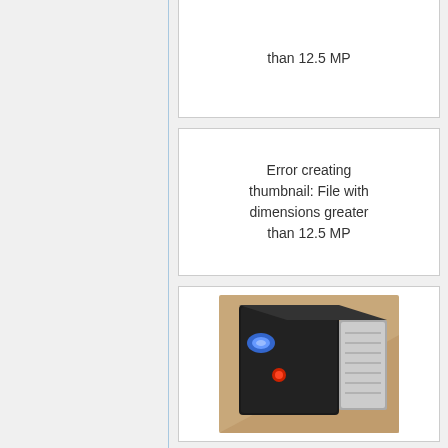[Figure (other): Partial error box at top: 'Error creating thumbnail: File with dimensions greater than 12.5 MP']
[Figure (other): Error box: 'Error creating thumbnail: File with dimensions greater than 12.5 MP']
[Figure (illustration): Illustration of a black server/media box with a blue projector lens and red indicator light, set against a tan/beige background.]
Its this big box. There is a projection of a window backing at its mix. All